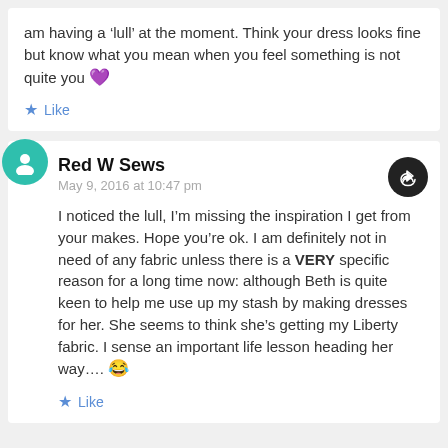am having a ‘lull’ at the moment. Think your dress looks fine but know what you mean when you feel something is not quite you 💜
Like
Red W Sews
May 9, 2016 at 10:47 pm
I noticed the lull, I'm missing the inspiration I get from your makes. Hope you're ok. I am definitely not in need of any fabric unless there is a VERY specific reason for a long time now: although Beth is quite keen to help me use up my stash by making dresses for her. She seems to think she's getting my Liberty fabric. I sense an important life lesson heading her way.... 😂
Like